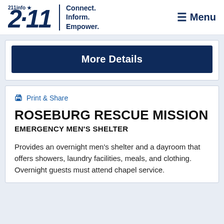[Figure (logo): 211info logo with star, tagline: Connect. Inform. Empower., and Menu button]
More Details
Print & Share
ROSEBURG RESCUE MISSION
EMERGENCY MEN'S SHELTER
Provides an overnight men's shelter and a dayroom that offers showers, laundry facilities, meals, and clothing. Overnight guests must attend chapel service.